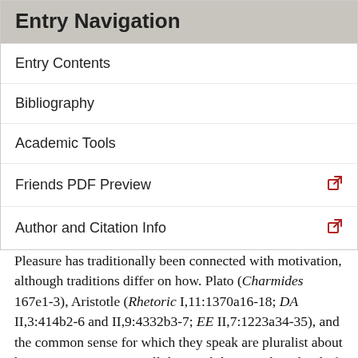Entry Navigation
Entry Contents
Bibliography
Academic Tools
Friends PDF Preview
Author and Citation Info
Pleasure has traditionally been connected with motivation, although traditions differ on how. Plato (Charmides 167e1-3), Aristotle (Rhetoric I,11:1370a16-18; DA II,3:414b2-6 and II,9:4332b3-7; EE II,7:1223a34-35), and the common sense for which they speak are pluralist about human motivation. For all these, while one salient kind of motive involves longing for pleasure or pleasant things, people also have other ultimate goals. They compete for honors and other purely competitive goods, seek revenge, and pursue and avoid other things as well. And sometimes they do so because of evaluative